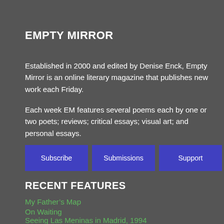EMPTY MIRROR
Established in 2000 and edited by Denise Enck, Empty Mirror is an online literary magazine that publishes new work each Friday.
Each week EM features several poems each by one or two poets; reviews; critical essays; visual art; and personal essays.
[Figure (other): Three purple buttons labeled Subscribe, Submissions, Support]
RECENT FEATURES
My Father’s Map
On Waiting
Seeing Las Meninas in Madrid, 1994